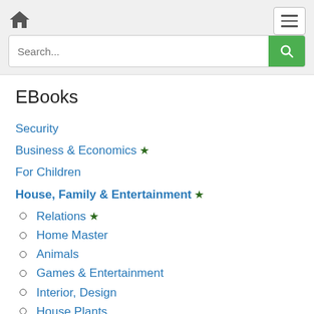Navigation bar with home icon, menu button, and search field
EBooks
Security
Business & Economics ★
For Children
House, Family & Entertainment ★
Relations ★
Home Master
Animals
Games & Entertainment
Interior, Design
House Plants
Cosmetics & Perfume
Kitchen
Fashion
Modeling
Recreation